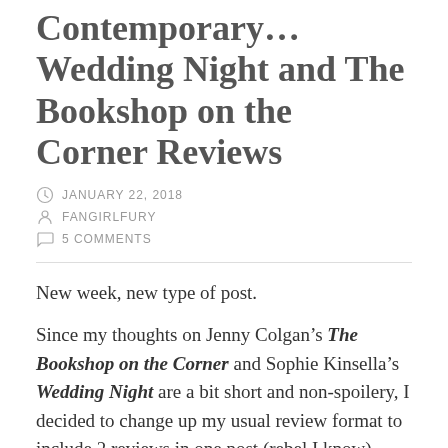Contemporary... Wedding Night and The Bookshop on the Corner Reviews
JANUARY 22, 2018
FANGIRLFURY
5 COMMENTS
New week, new type of post.
Since my thoughts on Jenny Colgan’s The Bookshop on the Corner and Sophie Kinsella’s Wedding Night are a bit short and non-spoilery, I decided to change up my usual review format to include 2 reviews in one post (rebel I know). Plus, both books fall under the same genre: British, adult contemporary!